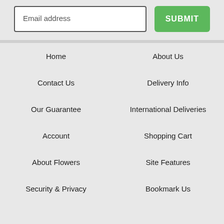Email address
SUBMIT
Home
About Us
Contact Us
Delivery Info
Our Guarantee
International Deliveries
Account
Shopping Cart
About Flowers
Site Features
Security & Privacy
Bookmark Us